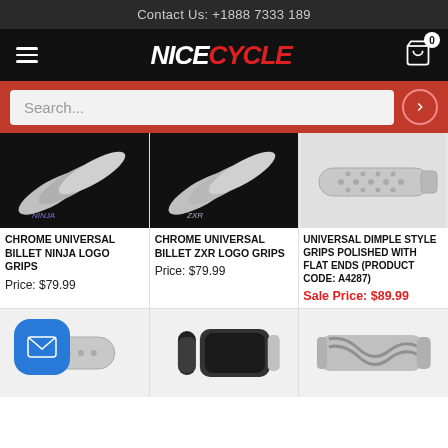Contact Us: +1888 7333 189
[Figure (screenshot): NiceCycle website navigation bar with hamburger menu, logo, and cart icon]
Search...
[Figure (photo): Chrome Universal Billet Ninja Logo Grips product photo]
CHROME UNIVERSAL BILLET NINJA LOGO GRIPS
Price: $79.99
[Figure (photo): Chrome Universal Billet ZXR Logo Grips product photo]
CHROME UNIVERSAL BILLET ZXR LOGO GRIPS
Price: $79.99
[Figure (photo): Universal Dimple Style Grips Polished with Flat Ends product photo]
UNIVERSAL DIMPLE STYLE GRIPS POLISHED WITH FLAT ENDS (PRODUCT CODE: A4287)
Sale Price: $89.99
[Figure (photo): Bottom row product photos: dimple grip, black rubber grips, chrome twisted grips]